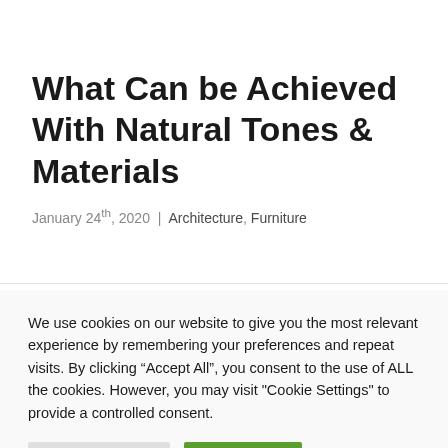What Can be Achieved With Natural Tones & Materials
January 24th, 2020 | Architecture, Furniture
We use cookies on our website to give you the most relevant experience by remembering your preferences and repeat visits. By clicking “Accept All”, you consent to the use of ALL the cookies. However, you may visit "Cookie Settings" to provide a controlled consent.